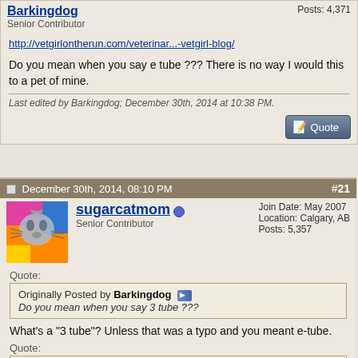Barkingdog [online] Senior Contributor | Posts: 4,371
http://vetgirlontherun.com/veterinar...-vetgirl-blog/
Do you mean when you say e tube ??? There is no way I would this to a pet of mine.
Last edited by Barkingdog; December 30th, 2014 at 10:38 PM.
December 30th, 2014, 08:10 PM  #21
sugarcatmom [online] Senior Contributor | Join Date: May 2007 | Location: Calgary, AB | Posts: 5,357
Quote:
Originally Posted by Barkingdog
Do you mean when you say 3 tube ???
What's a "3 tube"? Unless that was a typo and you meant e-tube.
Quote:
Originally Posted by Barkingdog
There is no way I would this to a pet of mine.